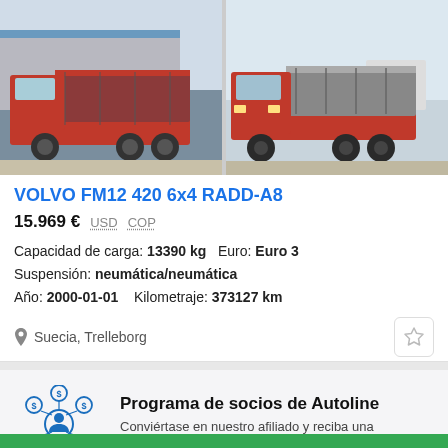[Figure (photo): Two red Volvo FM12 trucks side by side, parked in a lot]
VOLVO FM12 420 6x4 RADD-A8
15.969 €  USD  COP
Capacidad de carga: 13390 kg  Euro: Euro 3
Suspensión: neumática/neumática
Año: 2000-01-01   Kilometraje: 373127 km
Suecia, Trelleborg
[Figure (illustration): Network/affiliate icon with dollar signs around a central figure]
Programa de socios de Autoline
Conviértase en nuestro afiliado y reciba una recompensa por cada cliente atraído